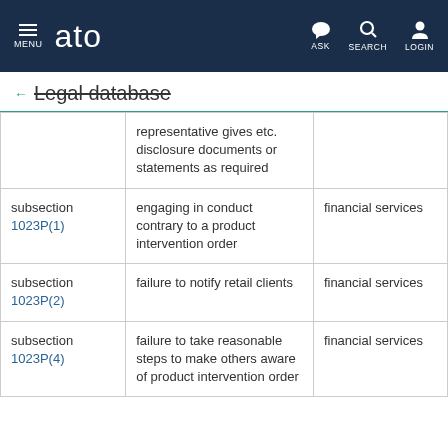MENU | ato | ASK | SEARCH | LOGIN
← Legal database
|  |  |  |
| --- | --- | --- |
|  | representative gives etc. disclosure documents or statements as required |  |
| subsection 1023P(1) | engaging in conduct contrary to a product intervention order | financial services |
| subsection 1023P(2) | failure to notify retail clients | financial services |
| subsection 1023P(4) | failure to take reasonable steps to make others aware of product intervention order | financial services |